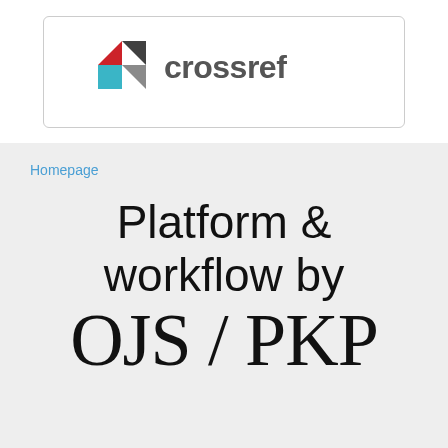[Figure (logo): Crossref logo with geometric diamond shape in red, blue, and gray colors, with 'crossref' text in gray]
Homepage
Platform & workflow by OJS / PKP